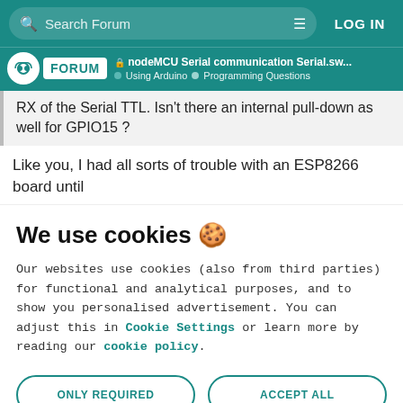Search Forum | LOG IN
nodeMCU Serial communication Serial.sw... | Using Arduino | Programming Questions
RX of the Serial TTL. Isn't there an internal pull-down as well for GPIO15 ?
Like you, I had all sorts of trouble with an ESP8266 board until
We use cookies 🍪
Our websites use cookies (also from third parties) for functional and analytical purposes, and to show you personalised advertisement. You can adjust this in Cookie Settings or learn more by reading our cookie policy.
ONLY REQUIRED
ACCEPT ALL